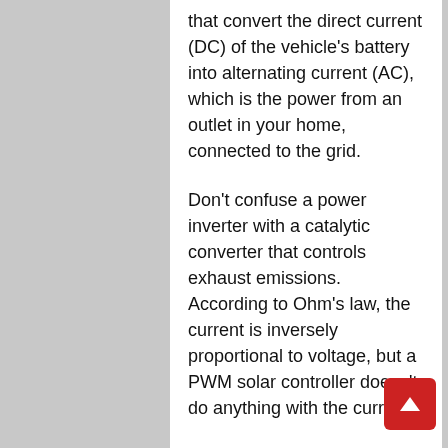that convert the direct current (DC) of the vehicle's battery into alternating current (AC), which is the power from an outlet in your home, connected to the grid.
Don't confuse a power inverter with a catalytic converter that controls exhaust emissions. According to Ohm's law, the current is inversely proportional to voltage, but a PWM solar controller doesn't do anything with the current.
Once the high voltage from the solar panel is converted into usable 12 volts, the output current will be equal to or less than the input current. However, if you're running something like a